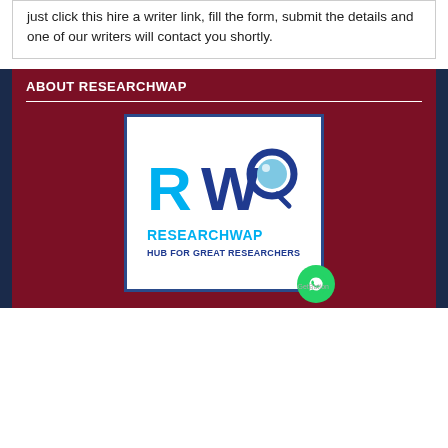just click this hire a writer link, fill the form, submit the details and one of our writers will contact you shortly.
ABOUT RESEARCHWAP
[Figure (logo): ResearchWap logo with RW letters in blue and a magnifying glass icon, with text RESEARCHWAP HUB FOR GREAT RESEARCHERS]